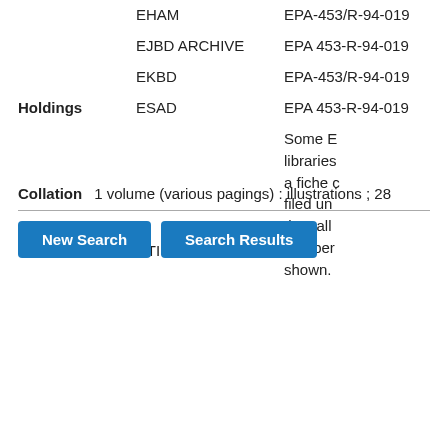|  | Library | Call Number | Notes |
| --- | --- | --- | --- |
| Holdings | EHAM | EPA-453/R-94-019 |  |
|  | EJBD ARCHIVE | EPA 453-R-94-019 |  |
|  | EKBD | EPA-453/R-94-019 |  |
|  | ESAD | EPA 453-R-94-019 | Some E... libraries... a fiche c... filed un... the call... number... shown. |
|  | NTIS | PB94-177185 |  |
Collation: 1 volume (various pagings) : illustrations ; 28
New Search | Search Results